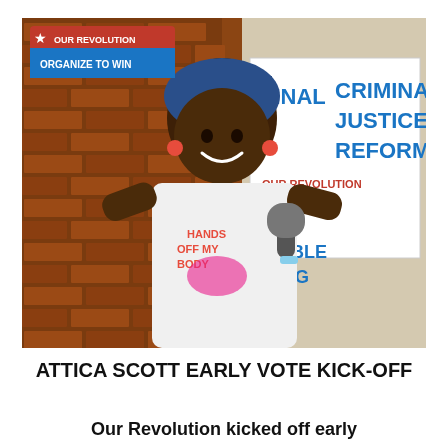[Figure (photo): A Black woman wearing a blue headwrap and a white 'Hands Off My Body' t-shirt speaks into a microphone at an outdoor rally. In the upper left corner is an Our Revolution 'Organize to Win' logo. Behind her is a sign reading 'Criminal Justice Reform' with the Our Revolution logo, and another partially visible sign reading 'Affordable Housing All'.]
ATTICA SCOTT EARLY VOTE KICK-OFF
Our Revolution kicked off early